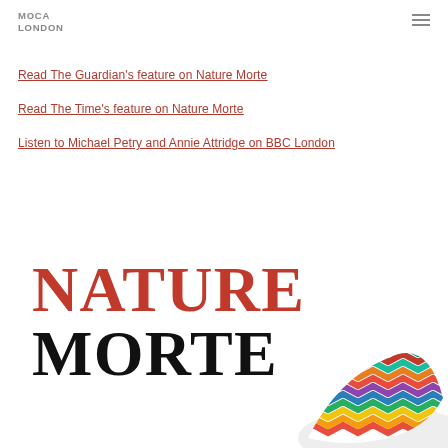MOCA LONDON
Read The Guardian's feature on Nature Morte
Read The Time's feature on Nature Morte
Listen to Michael Petry and Annie Attridge on BBC London
[Figure (illustration): Large decorative title 'NATURE MORTE' in serif font — NATURE in red, MORTE in black — with a colourful zigzag-patterned sculptural object partially visible in the lower right corner]